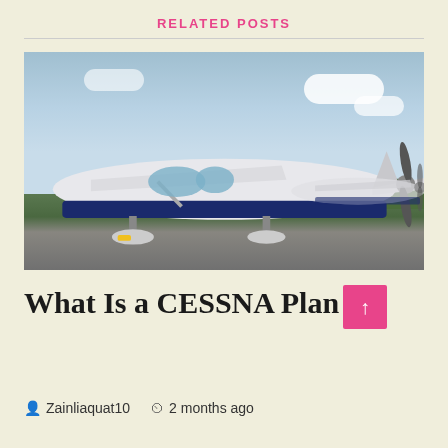RELATED POSTS
[Figure (photo): Two white and blue Cessna propeller planes parked on a runway tarmac, with green grass and cloudy sky in the background. The planes are close-up, showing wings, fuselage, propellers, and landing gear with wheel chocks.]
What Is a CESSNA Plan
Zainliaquat10   2 months ago